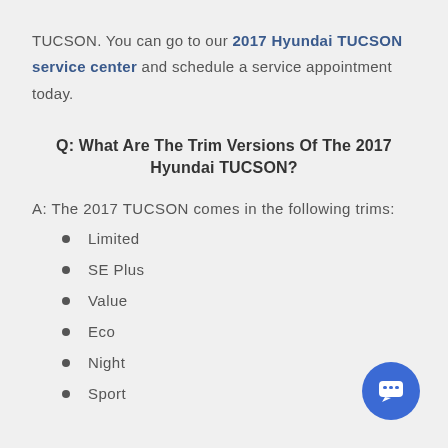TUCSON. You can go to our 2017 Hyundai TUCSON service center and schedule a service appointment today.
Q: What Are The Trim Versions Of The 2017 Hyundai TUCSON?
A: The 2017 TUCSON comes in the following trims:
Limited
SE Plus
Value
Eco
Night
Sport